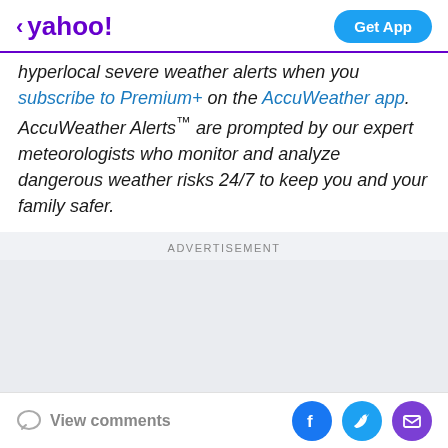< yahoo! | Get App
hyperlocal severe weather alerts when you subscribe to Premium+ on the AccuWeather app. AccuWeather Alerts™ are prompted by our expert meteorologists who monitor and analyze dangerous weather risks 24/7 to keep you and your family safer.
ADVERTISEMENT
View comments | Facebook | Twitter | Email